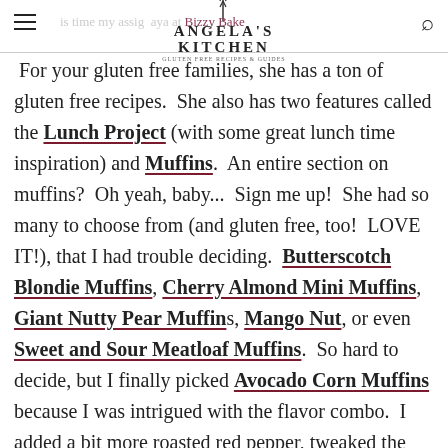Angela's Kitchen
For your gluten free families, she has a ton of gluten free recipes.  She also has two features called the Lunch Project (with some great lunch time inspiration) and Muffins.  An entire section on muffins?  Oh yeah, baby...  Sign me up!  She had so many to choose from (and gluten free, too!  LOVE IT!), that I had trouble deciding.  Butterscotch Blondie Muffins, Cherry Almond Mini Muffins, Giant Nutty Pear Muffins, Mango Nut, or even Sweet and Sour Meatloaf Muffins.  So hard to decide, but I finally picked Avocado Corn Muffins because I was intrigued with the flavor combo.  I added a bit more roasted red pepper, tweaked the